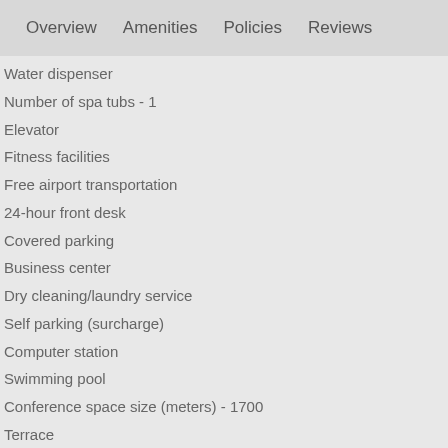Overview   Amenities   Policies   Reviews
Water dispenser
Number of spa tubs - 1
Elevator
Fitness facilities
Free airport transportation
24-hour front desk
Covered parking
Business center
Dry cleaning/laundry service
Self parking (surcharge)
Computer station
Swimming pool
Conference space size (meters) - 1700
Terrace
Luggage storage
Concierge services
Gift shops or newsstand